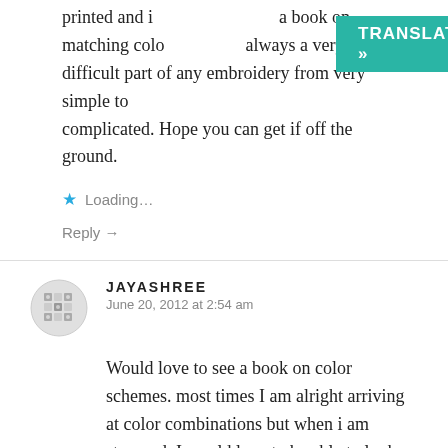printed and i... a book on matching colo... always a very difficult part of any embroidery from very simple to complicated. Hope you can get if off the ground.
[Figure (other): Green TRANSLATE button overlay]
Loading...
Reply →
JAYASHREE
June 20, 2012 at 2:54 am
[Figure (other): User avatar icon — decorative tile pattern in grey]
Would love to see a book on color schemes. most times I am alright arriving at color combinations but when i am stumped, I would love to be able to look up one of your books a a reference tool… Thanks